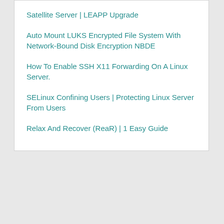Satellite Server | LEAPP Upgrade
Auto Mount LUKS Encrypted File System With Network-Bound Disk Encryption NBDE
How To Enable SSH X11 Forwarding On A Linux Server.
SELinux Confining Users | Protecting Linux Server From Users
Relax And Recover (ReaR) | 1 Easy Guide
[Figure (other): Empty white panel / advertisement placeholder]